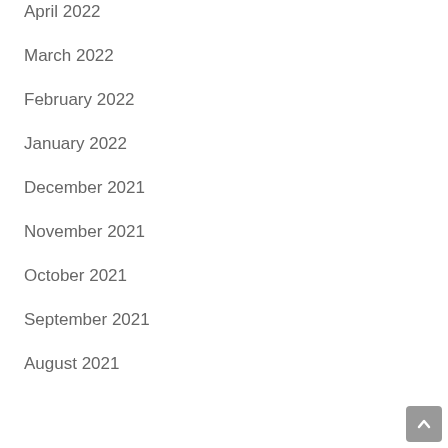April 2022
March 2022
February 2022
January 2022
December 2021
November 2021
October 2021
September 2021
August 2021
Categories
Business
Casino
Uncategorized